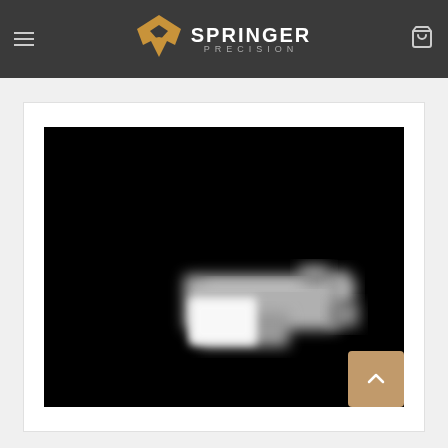Springer Precision — site header with hamburger menu, logo, and cart icon
[Figure (photo): Product photo on black background — a blurry image of a firearm part/slide component, silver/gray metallic, center-right of frame, against pure black background. White rectangular label/tag visible on the part.]
[Figure (other): Back to top button — tan/brown rounded square button with a white upward-pointing chevron arrow, positioned bottom-right of the page.]